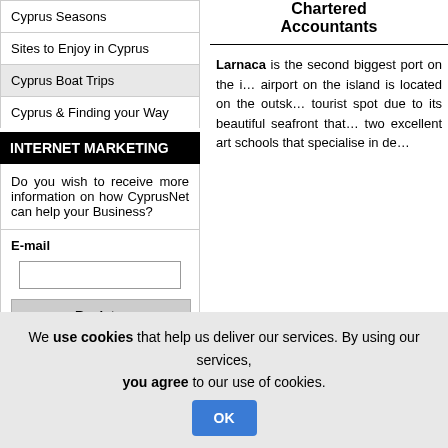Cyprus Seasons
Sites to Enjoy in Cyprus
Cyprus Boat Trips
Cyprus & Finding your Way
INTERNET MARKETING
Do you wish to receive more information on how CyprusNet can help your Business?
E-mail
Chartered Accountants
Larnaca is the second biggest port on the island. The only international airport on the island is located on the outskirts of Larnaca. It is a popular tourist spot due to its beautiful seafront that stretches for miles and has two excellent art schools that specialise in de...
We use cookies that help us deliver our services. By using our services, you agree to our use of cookies.